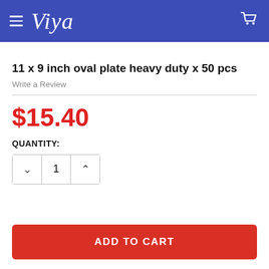Viya
11 x 9 inch oval plate heavy duty x 50 pcs
Write a Review
$15.40
QUANTITY:
1
ADD TO CART